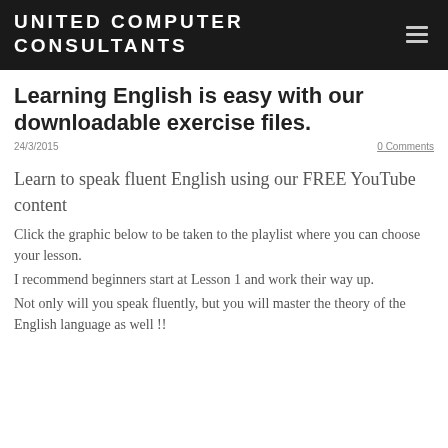UNITED COMPUTER CONSULTANTS
Learning English is easy with our downloadable exercise files.
24/3/2015
0 Comments
Learn to speak fluent English using our FREE YouTube content
Click the graphic below to be taken to the playlist where you can choose your lesson.
I recommend beginners start at Lesson 1 and work their way up.
Not only will you speak fluently, but you will master the theory of the English language as well !!